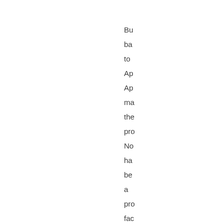Bu ba to Ap Ap ma the pro No ha be a pro fac Ma qu